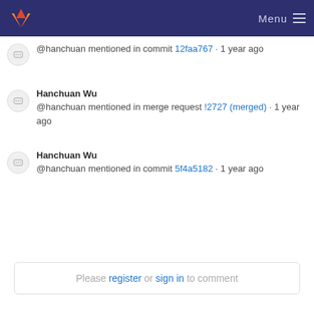Menu
@hanchuan mentioned in commit 12faa767 · 1 year ago
Hanchuan Wu
@hanchuan mentioned in merge request !2727 (merged) · 1 year ago
Hanchuan Wu
@hanchuan mentioned in commit 5f4a5182 · 1 year ago
Please register or sign in to comment